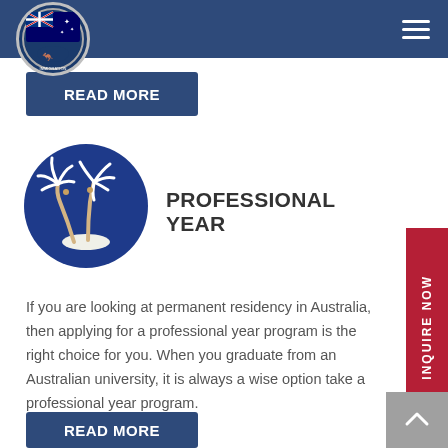Acglobal Immigration (logo and navigation bar)
READ MORE
[Figure (illustration): Dark blue circle icon with two white palm trees on a small island]
PROFESSIONAL YEAR
If you are looking at permanent residency in Australia, then applying for a professional year program is the right choice for you. When you graduate from an Australian university, it is always a wise option take a professional year program.
READ MORE
INQUIRE NOW